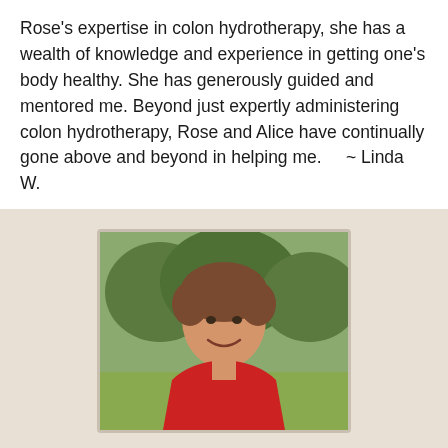Rose's expertise in colon hydrotherapy, she has a wealth of knowledge and experience in getting one's body healthy. She has generously guided and mentored me. Beyond just expertly administering colon hydrotherapy, Rose and Alice have continually gone above and beyond in helping me.    ~ Linda W.
[Figure (photo): Profile photo of Rose (Roseann Johnson), a smiling woman with short brown hair wearing a red top, photographed outdoors with trees and grass in the background.]
Rose
Roseann Johnson's knowledge in the fields of cleansing the body and nutrition comes from years of formal